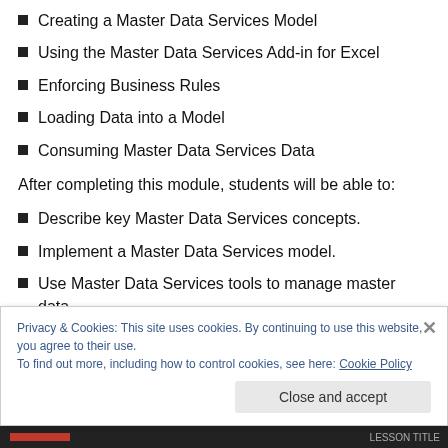Creating a Master Data Services Model
Using the Master Data Services Add-in for Excel
Enforcing Business Rules
Loading Data into a Model
Consuming Master Data Services Data
After completing this module, students will be able to:
Describe key Master Data Services concepts.
Implement a Master Data Services model.
Use Master Data Services tools to manage master data
Privacy & Cookies: This site uses cookies. By continuing to use this website, you agree to their use.
To find out more, including how to control cookies, see here: Cookie Policy